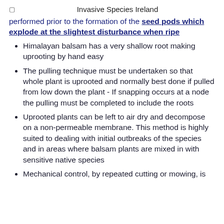☐  Invasive Species Ireland
performed prior to the formation of the seed pods which explode at the slightest disturbance when ripe
Himalayan balsam has a very shallow root making uprooting by hand easy
The pulling technique must be undertaken so that whole plant is uprooted and normally best done if pulled from low down the plant - If snapping occurs at a node the pulling must be completed to include the roots
Uprooted plants can be left to air dry and decompose on a non-permeable membrane. This method is highly suited to dealing with initial outbreaks of the species and in areas where balsam plants are mixed in with sensitive native species
Mechanical control, by repeated cutting or mowing, is